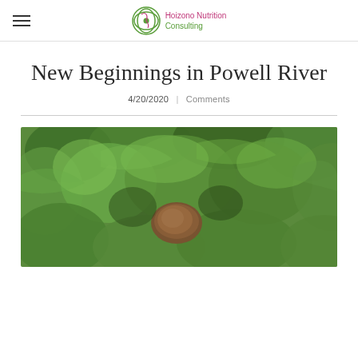Hoizono Nutrition Consulting
New Beginnings in Powell River
4/20/2020   Comments
[Figure (photo): Close-up photograph of green leafy plants with a brown root or vegetable visible among the foliage, possibly a garden or foraging scene.]